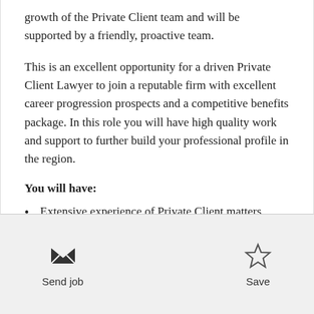growth of the Private Client team and will be supported by a friendly, proactive team.
This is an excellent opportunity for a driven Private Client Lawyer to join a reputable firm with excellent career progression prospects and a competitive benefits package. In this role you will have high quality work and support to further build your professional profile in the region.
You will have:
Extensive experience of Private Client matters
Managerial or supervisory experience
Send job | Save